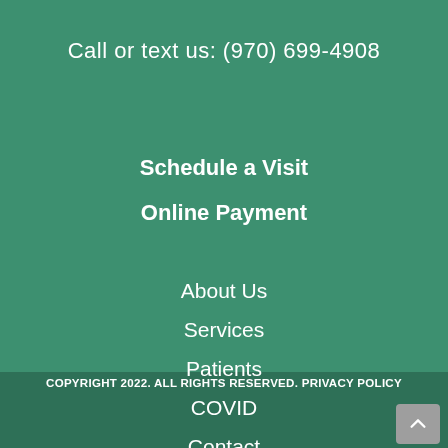Call or text us: (970) 699-4908
Schedule a Visit
Online Payment
About Us
Services
Patients
COVID
Contact
COPYRIGHT 2022. ALL RIGHTS RESERVED. PRIVACY POLICY